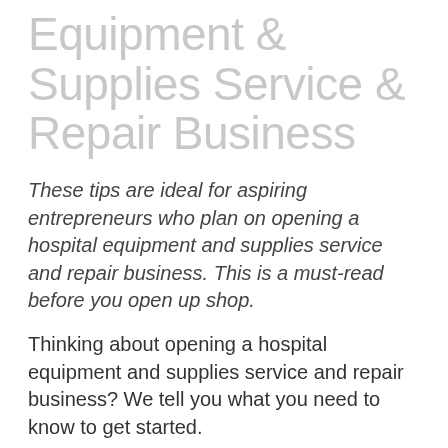Equipment & Supplies Service & Repair Business
These tips are ideal for aspiring entrepreneurs who plan on opening a hospital equipment and supplies service and repair business. This is a must-read before you open up shop.
Thinking about opening a hospital equipment and supplies service and repair business? We tell you what you need to know to get started.
Business Plan Mechanics for Hospital Equipment & Supplies Service & Repair Businesses